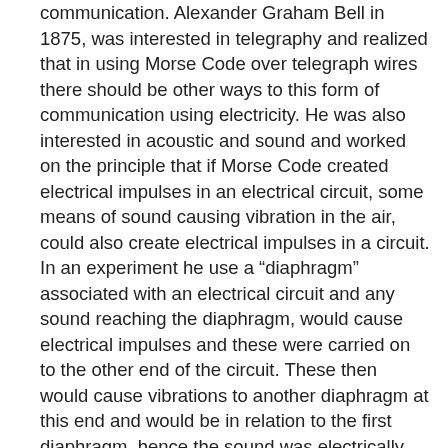communication. Alexander Graham Bell in 1875, was interested in telegraphy and realized that in using Morse Code over telegraph wires there should be other ways to this form of communication using electricity. He was also interested in acoustic and sound and worked on the principle that if Morse Code created electrical impulses in an electrical circuit, some means of sound causing vibration in the air, could also create electrical impulses in a circuit. In an experiment he use a “diaphragm” associated with an electrical circuit and any sound reaching the diaphragm, would cause electrical impulses and these were carried on to the other end of the circuit. These then would cause vibrations to another diaphragm at this end and would be in relation to the first diaphragm, hence the sound was electrically transmitted from one end of the circuit to the other end. He continued working on these experiments and on March 7th, 1876 his telephone was officially patented and a successful demonstration was made at an Exhibition Hall in Philadelphia. Graham Bell was just in time to patent his telephone, as another inventor Elisha Gray, was experimenting also on a similar invention. Later, Edison improved on the diaphragm – then called transmitters – but Bell won the day, by being given the honor of inventing the “telephone”.